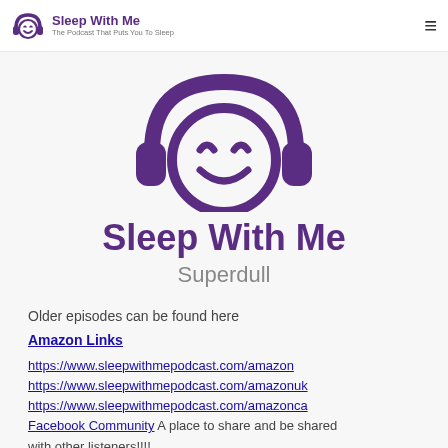Sleep With Me – The Podcast That Puts You To Sleep
[Figure (logo): Sleep With Me podcast logo: purple circular face with closed eyes, smile, and headphones]
Sleep With Me
Superdull
Older episodes can be found here
Amazon Links
https://www.sleepwithmepodcast.com/amazon
https://www.sleepwithmepodcast.com/amazonuk
https://www.sleepwithmepodcast.com/amazonca
Facebook Community A place to share and be shared with other listeners!!!!